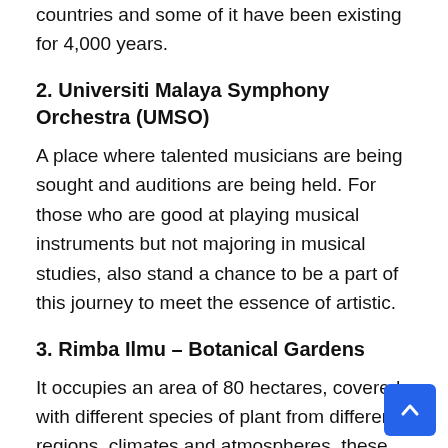countries and some of it have been existing for 4,000 years.
2. Universiti Malaya Symphony Orchestra (UMSO)
A place where talented musicians are being sought and auditions are being held. For those who are good at playing musical instruments but not majoring in musical studies, also stand a chance to be a part of this journey to meet the essence of artistic.
3. Rimba Ilmu – Botanical Gardens
It occupies an area of 80 hectares, covered with different species of plant from different regions, climates and atmospheres, these include the Pacific islands, Australia, South America, Africa and Madagascar, with